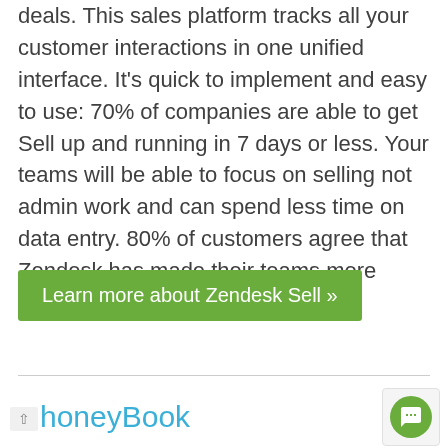deals. This sales platform tracks all your customer interactions in one unified interface. It's quick to implement and easy to use: 70% of companies are able to get Sell up and running in 7 days or less. Your teams will be able to focus on selling not admin work and can spend less time on data entry. 80% of customers agree that Zendesk has made their teams more efficient.
Learn more about Zendesk Sell »
↑ honeyBook